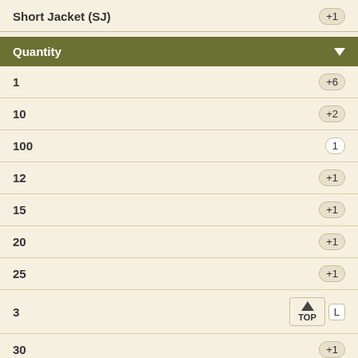Short Jacket (SJ)
| Quantity |  |
| --- | --- |
| 1 | +6 |
| 10 | +2 |
| 100 | 1 |
| 12 | +1 |
| 15 | +1 |
| 20 | +1 |
| 25 | +1 |
| 3 | +1 (TOP) |
| 30 | +1 |